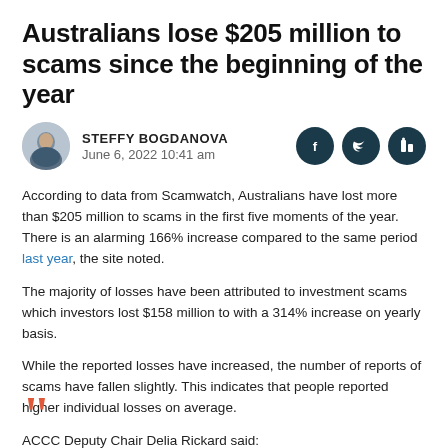Australians lose $205 million to scams since the beginning of the year
STEFFY BOGDANOVA
June 6, 2022 10:41 am
According to data from Scamwatch, Australians have lost more than $205 million to scams in the first five moments of the year. There is an alarming 166% increase compared to the same period last year, the site noted.
The majority of losses have been attributed to investment scams which investors lost $158 million to with a 314% increase on yearly basis.
While the reported losses have increased, the number of reports of scams have fallen slightly. This indicates that people reported higher individual losses on average.
ACCC Deputy Chair Delia Rickard said: